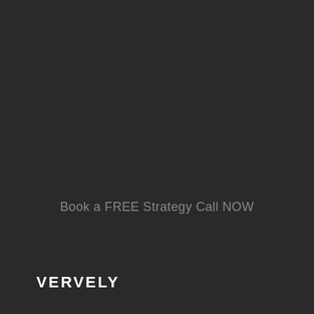Book a FREE Strategy Call NOW
VERVELY